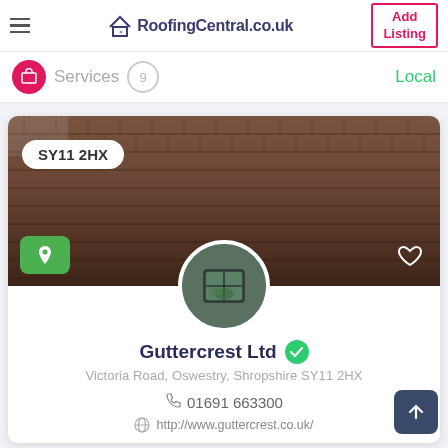RoofingCentral.co.uk — Add Listing
Services 9 Local
[Figure (photo): Roof tile photo background showing terracotta/clay aged roof tiles with postcode badge SY11 2HX overlay; green location pin button bottom-left; heart icon bottom-right; circular avatar of a skylight window]
Guttercrest Ltd
Victoria Road, Oswestry, Shropshire SY11 2HX
01691 663300
http://www.guttercrest.co.uk/